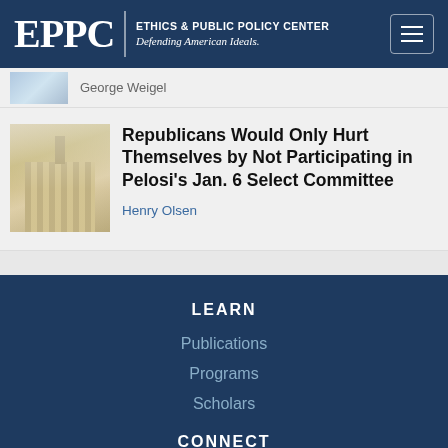EPPC | ETHICS & PUBLIC POLICY CENTER Defending American Ideals.
George Weigel
Republicans Would Only Hurt Themselves by Not Participating in Pelosi's Jan. 6 Select Committee
Henry Olsen
LEARN
Publications
Programs
Scholars
CONNECT